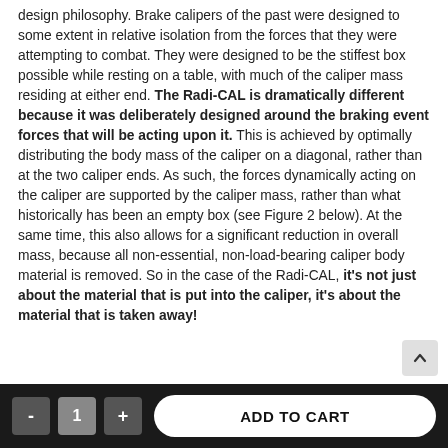design philosophy. Brake calipers of the past were designed to some extent in relative isolation from the forces that they were attempting to combat. They were designed to be the stiffest box possible while resting on a table, with much of the caliper mass residing at either end. The Radi-CAL is dramatically different because it was deliberately designed around the braking event forces that will be acting upon it. This is achieved by optimally distributing the body mass of the caliper on a diagonal, rather than at the two caliper ends. As such, the forces dynamically acting on the caliper are supported by the caliper mass, rather than what historically has been an empty box (see Figure 2 below). At the same time, this also allows for a significant reduction in overall mass, because all non-essential, non-load-bearing caliper body material is removed. So in the case of the Radi-CAL, it's not just about the material that is put into the caliper, it's about the material that is taken away!